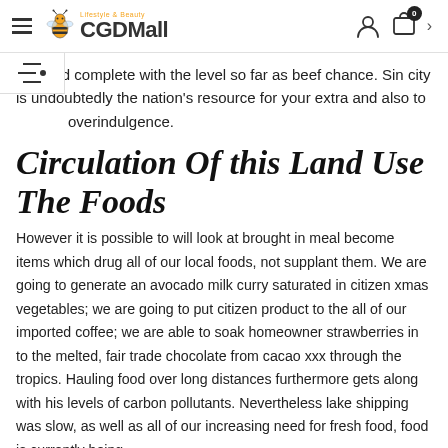CGDMall
the fried complete with the level so far as beef chance. Sin city is undoubtedly the nation's resource for your extra and also to overindulgence.
Circulation Of this Land Use The Foods
However it is possible to will look at brought in meal become items which drug all of our local foods, not supplant them. We are going to generate an avocado milk curry saturated in citizen xmas vegetables; we are going to put citizen product to the all of our imported coffee; we are able to soak homeowner strawberries in to the melted, fair trade chocolate from cacao xxx through the tropics. Hauling food over long distances furthermore gets along with his levels of carbon pollutants. Nevertheless lake shipping was slow, as well as all of our increasing need for fresh food, food is currently being